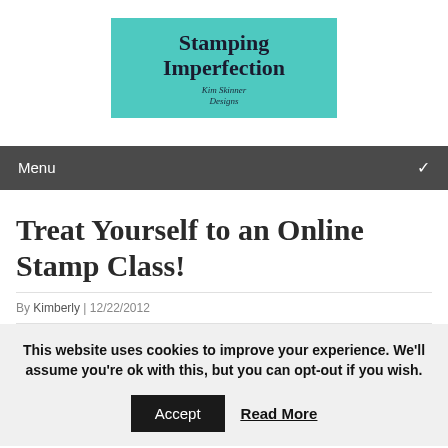[Figure (logo): Stamping Imperfection logo — teal/turquoise background rectangle with serif text 'Stamping Imperfection' and subtitle 'Kim Skinner Designs']
Menu
Treat Yourself to an Online Stamp Class!
By Kimberly | 12/22/2012
This website uses cookies to improve your experience. We'll assume you're ok with this, but you can opt-out if you wish.
Accept   Read More